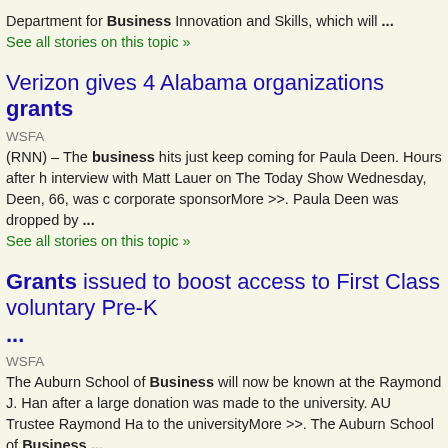Department for Business Innovation and Skills, which will ...
See all stories on this topic »
Verizon gives 4 Alabama organizations grants
WSFA
(RNN) – The business hits just keep coming for Paula Deen. Hours after h interview with Matt Lauer on The Today Show Wednesday, Deen, 66, was corporate sponsorMore >>. Paula Deen was dropped by ...
See all stories on this topic »
Grants issued to boost access to First Class voluntary Pre-K ...
WSFA
The Auburn School of Business will now be known at the Raymond J. Han after a large donation was made to the university. AU Trustee Raymond Ha to the universityMore >>. The Auburn School of Business ...
See all stories on this topic »
Government cash to help build Darlington business hub
The Northern Echo
MORE than £6m in Government grants could be spent on a new business Business Growth Hub, which is set to be built in Darlington's Central Park Darlington College is designed to provide signposting...